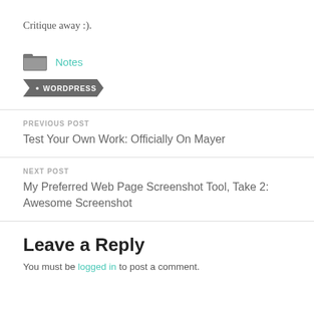Critique away :).
Notes
WORDPRESS
PREVIOUS POST
Test Your Own Work: Officially On Mayer
NEXT POST
My Preferred Web Page Screenshot Tool, Take 2: Awesome Screenshot
Leave a Reply
You must be logged in to post a comment.